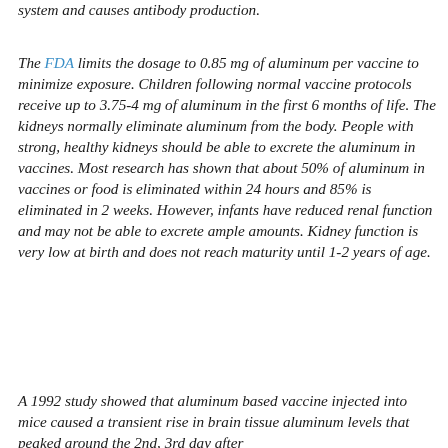system and causes antibody production.
The FDA limits the dosage to 0.85 mg of aluminum per vaccine to minimize exposure. Children following normal vaccine protocols receive up to 3.75-4 mg of aluminum in the first 6 months of life. The kidneys normally eliminate aluminum from the body. People with strong, healthy kidneys should be able to excrete the aluminum in vaccines. Most research has shown that about 50% of aluminum in vaccines or food is eliminated within 24 hours and 85% is eliminated in 2 weeks. However, infants have reduced renal function and may not be able to excrete ample amounts. Kidney function is very low at birth and does not reach maturity until 1-2 years of age.
A 1992 study showed that aluminum based vaccine injected into mice caused a transient rise in brain tissue aluminum levels that peaked around the 2nd, 3rd day after